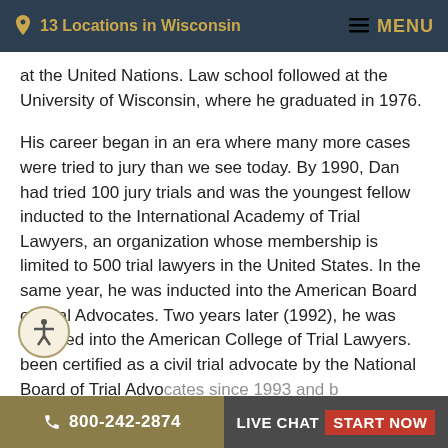13 Locations in Wisconsin   MENU
at the United Nations. Law school followed at the University of Wisconsin, where he graduated in 1976.
His career began in an era where many more cases were tried to jury than we see today. By 1990, Dan had tried 100 jury trials and was the youngest fellow inducted to the International Academy of Trial Lawyers, an organization whose membership is limited to 500 trial lawyers in the United States. In the same year, he was inducted into the American Board of Trial Advocates. Two years later (1992), he was inducted into the American College of Trial Lawyers. been certified as a civil trial advocate by the National Board of Trial Advocates since 1993 and b
800-242-2874   LIVE CHAT  START NOW